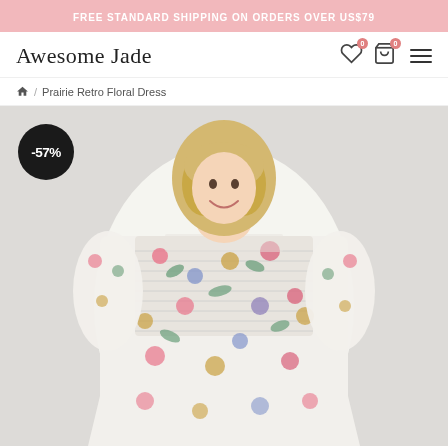FREE STANDARD SHIPPING ON ORDERS OVER US$79
Awesome Jade
/ Prairie Retro Floral Dress
[Figure (photo): Model wearing a Prairie Retro Floral Dress — white dress with multicolor floral print featuring pink, green, gold and blue flowers; smocked bodice; square neckline; 3/4 puff sleeves. Model has short blonde hair and is smiling. A -57% discount badge appears in the upper left corner.]